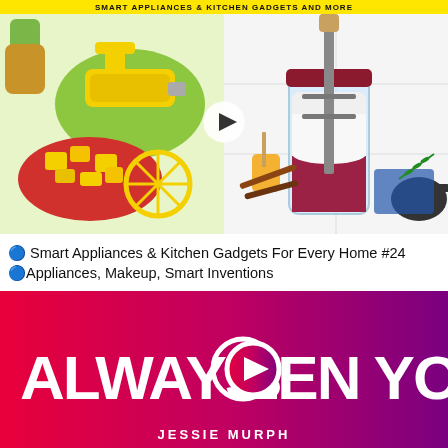[Figure (screenshot): Yellow banner at top with text about smart appliances and kitchen gadgets]
[Figure (screenshot): Video thumbnail split in two halves: left shows pineapple cutter kitchen gadget with sliced pineapple on red plate and yellow slicer tool on green board; right shows a mason jar with mixing gadget, cinnamon sticks, honey, and cast iron skillet. A white play button circle is overlaid in the center.]
🔵 Smart Appliances & Kitchen Gadgets For Every Home #24 🔵Appliances, Makeup, Smart Inventions
[Figure (screenshot): Pink-to-purple gradient background with large white bold text 'ALWAYS BEEN YOU' with a play button icon replacing the letter O, and subtitle 'JESSIE MURPH' below in white capitals.]